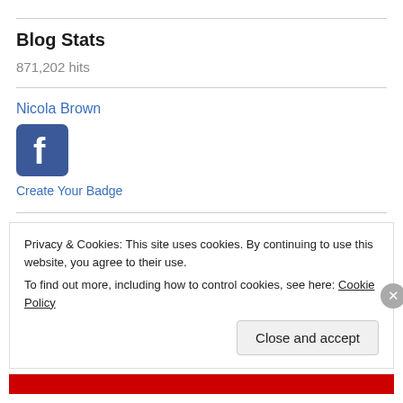Blog Stats
871,202 hits
Nicola Brown
[Figure (logo): Facebook logo icon — blue square with white 'f' letter]
Create Your Badge
Privacy & Cookies: This site uses cookies. By continuing to use this website, you agree to their use.
To find out more, including how to control cookies, see here: Cookie Policy
Close and accept